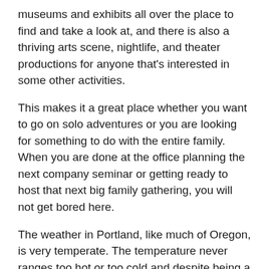museums and exhibits all over the place to find and take a look at, and there is also a thriving arts scene, nightlife, and theater productions for anyone that's interested in some other activities.
This makes it a great place whether you want to go on solo adventures or you are looking for something to do with the entire family. When you are done at the office planning the next company seminar or getting ready to host that next big family gathering, you will not get bored here.
The weather in Portland, like much of Oregon, is very temperate. The temperature never ranges too hot or too cold and despite being a little humid and rainy, Portland is a great city for spending time exploring the outdoors. Whether you're visiting or plan to live there, you will not have to worry about any extreme weather or other complications ruining your day, so you can fully enjoy what free time you have in the city.